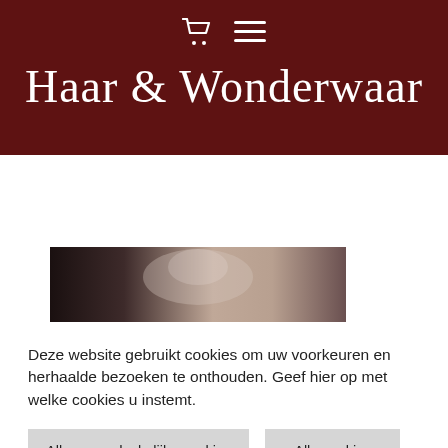Haar & Wonderwaar
[Figure (photo): Partial view of a person with dark hair, cropped at bottom of visible area]
Deze website gebruikt cookies om uw voorkeuren en herhaalde bezoeken te onthouden. Geef hier op met welke cookies u instemt.
Alleen noodzakelijke cookies | Alle cookies | Cookie instellingen | Lees meer